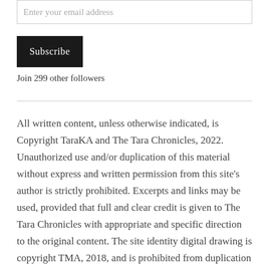Enter your email address
Subscribe
Join 299 other followers
All written content, unless otherwise indicated, is Copyright TaraKA and The Tara Chronicles, 2022. Unauthorized use and/or duplication of this material without express and written permission from this site's author is strictly prohibited. Excerpts and links may be used, provided that full and clear credit is given to The Tara Chronicles with appropriate and specific direction to the original content. The site identity digital drawing is copyright TMA, 2018, and is prohibited from duplication without legally obtained consent from the